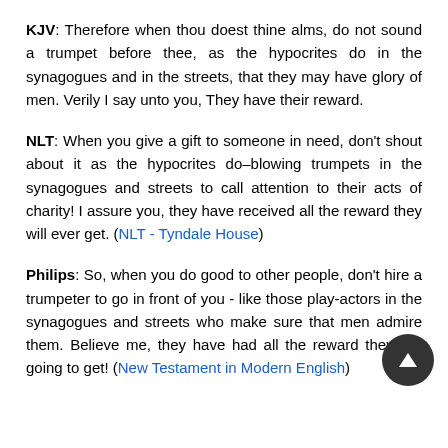KJV: Therefore when thou doest thine alms, do not sound a trumpet before thee, as the hypocrites do in the synagogues and in the streets, that they may have glory of men. Verily I say unto you, They have their reward.
NLT: When you give a gift to someone in need, don't shout about it as the hypocrites do–blowing trumpets in the synagogues and streets to call attention to their acts of charity! I assure you, they have received all the reward they will ever get. (NLT - Tyndale House)
Philips: So, when you do good to other people, don't hire a trumpeter to go in front of you - like those play-actors in the synagogues and streets who make sure that men admire them. Believe me, they have had all the reward they are going to get! (New Testament in Modern English)